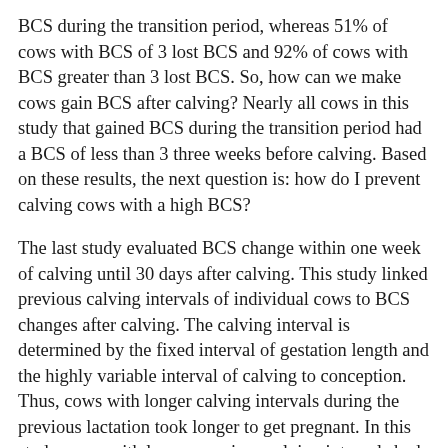BCS during the transition period, whereas 51% of cows with BCS of 3 lost BCS and 92% of cows with BCS greater than 3 lost BCS. So, how can we make cows gain BCS after calving? Nearly all cows in this study that gained BCS during the transition period had a BCS of less than 3 three weeks before calving. Based on these results, the next question is: how do I prevent calving cows with a high BCS?
The last study evaluated BCS change within one week of calving until 30 days after calving. This study linked previous calving intervals of individual cows to BCS changes after calving. The calving interval is determined by the fixed interval of gestation length and the highly variable interval of calving to conception. Thus, cows with longer calving intervals during the previous lactation took longer to get pregnant. In this study, cows with longer previous calving intervals had greater BCS at calving and lost BCS during the first 30 days after calving.
Similar to the first two studies, cows that maintained or gained BCS after calving had greater conception rates, less pregnancy